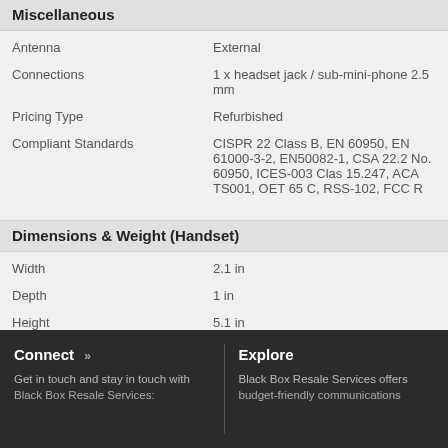Miscellaneous
| Property | Value |
| --- | --- |
| Antenna | External |
| Connections | 1 x headset jack / sub-mini-phone 2.5 mm |
| Pricing Type | Refurbished |
| Compliant Standards | CISPR 22 Class B, EN 60950, EN 61000-3-2, EN50082-1, CSA 22.2 No. 60950, ICES-003 Class 15.247, ACA TS001, OET 65 C, RSS-102, FCC R... |
Dimensions & Weight (Handset)
| Property | Value |
| --- | --- |
| Width | 2.1 in |
| Depth | 1 in |
| Height | 5.1 in |
| Weight | 5.1 oz |
Connect »
Get in touch and stay in touch with Black Box Resale Services:
Explore
Black Box Resale Services offers budget-friendly communications